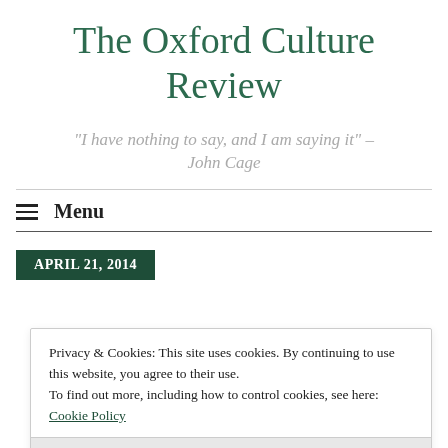The Oxford Culture Review
"I have nothing to say, and I am saying it" – John Cage
Menu
APRIL 21, 2014
Privacy & Cookies: This site uses cookies. By continuing to use this website, you agree to their use. To find out more, including how to control cookies, see here: Cookie Policy
Close and accept